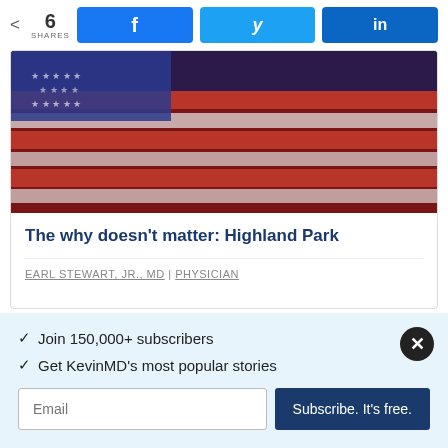6 SHARES | Facebook | Twitter | LinkedIn
[Figure (photo): Close-up abstract photo of red, white, and blue material resembling an American flag made of small objects or pills.]
The why doesn't matter: Highland Park
EARL STEWART, JR., MD | PHYSICIAN
Join 150,000+ subscribers
Get KevinMD's most popular stories
Email | Subscribe. It's free.